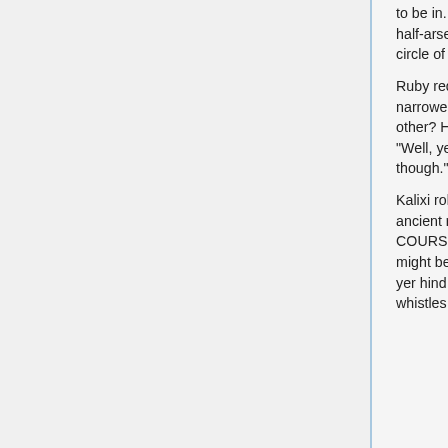to be in... ye knows, a more appropriate place, instead o just half-arsed on the beach? Shouldn't there be... stones, shells, a circle of sommat?"
Ruby red eyes flaring wide, the serpentine, slitted pupils narrowed with interest on Kalixi, "Maybe one, maybe the other? Hard to say without trying first." He looks around a bit, "Well, yeah. I mean that'd help. That means we gotta *prepare* though."
Kalixi rolls her olive-dark eyes thunderously. "Eerh, it be an -ancient ritual-," she parrots him from previously. "Then o COURSE ye should prepare, ye dizzy songbird. If ye thinks he might be hard to reach, ye ought ter prepare, rather'n shakin yer hind end around a pole like a girl lookin' fer coin an whistles." Also, finally, she hands him the